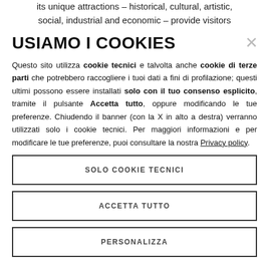its unique attractions – historical, cultural, artistic, social, industrial and economic – provide visitors
USIAMO I COOKIES
Questo sito utilizza cookie tecnici e talvolta anche cookie di terze parti che potrebbero raccogliere i tuoi dati a fini di profilazione; questi ultimi possono essere installati solo con il tuo consenso esplicito, tramite il pulsante Accetta tutto, oppure modificando le tue preferenze. Chiudendo il banner (con la X in alto a destra) verranno utilizzati solo i cookie tecnici. Per maggiori informazioni e per modificare le tue preferenze, puoi consultare la nostra Privacy policy.
SOLO COOKIE TECNICI
ACCETTA TUTTO
PERSONALIZZA